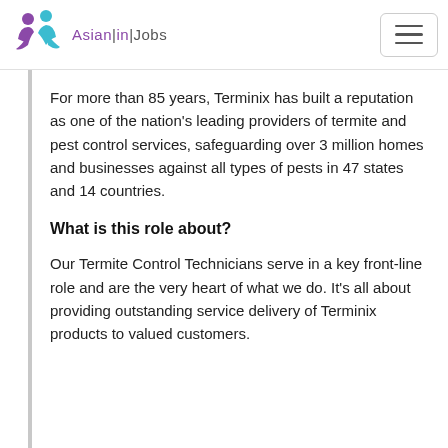[Figure (logo): Asian|in|Jobs logo with two stylized human figures (purple and teal) and the text 'Asian|in|Jobs']
For more than 85 years, Terminix has built a reputation as one of the nation's leading providers of termite and pest control services, safeguarding over 3 million homes and businesses against all types of pests in 47 states and 14 countries.
What is this role about?
Our Termite Control Technicians serve in a key front-line role and are the very heart of what we do. It's all about providing outstanding service delivery of Terminix products to valued customers.